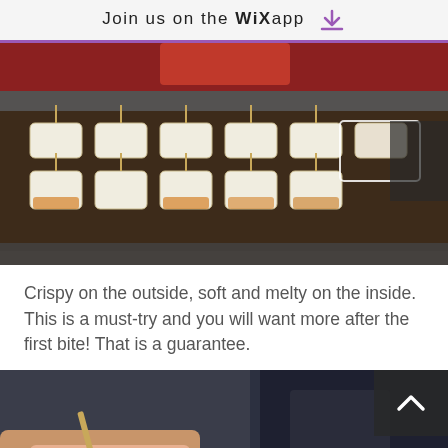Join us on the WiX app ↓
[Figure (photo): Tofu or mochi skewers cooking on a flat griddle, arranged in rows, some golden-brown on the bottom side. A person in red is visible at the top.]
Crispy on the outside, soft and melty on the inside. This is a must-try and you will want more after the first bite! That is a guarantee.
[Figure (photo): Close-up of a person's hand holding a wooden skewer with a tofu/mochi piece, partially eaten, with a dark jacket in background. A scroll-up button and chat button are overlaid.]